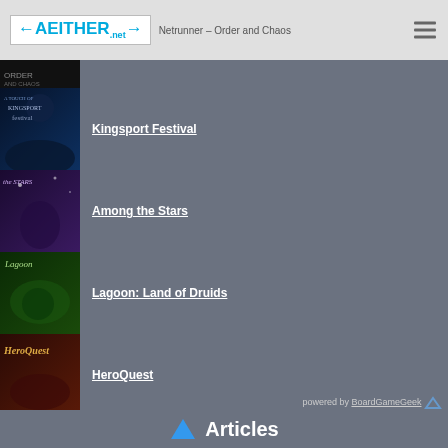AETHER.net — Netrunner – Order and Chaos
[Figure (screenshot): Partial game thumbnail at top (cropped)]
Kingsport Festival
Among the Stars
Lagoon: Land of Druids
HeroQuest
powered by BoardGameGeek
Articles